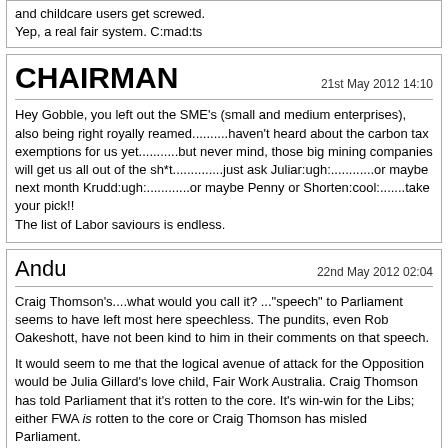and childcare users get screwed.
Yep, a real fair system. C:mad:ts
CHAIRMAN — 21st May 2012 14:10
Hey Gobble, you left out the SME's (small and medium enterprises), also being right royally reamed..........haven't heard about the carbon tax exemptions for us yet...........but never mind, those big mining companies will get us all out of the sh*t..............just ask Juliar:ugh:............or maybe next month Krudd:ugh:............or maybe Penny or Shorten:cool:.......take your pick!!
The list of Labor saviours is endless.
Andu — 22nd May 2012 02:04
Craig Thomson's....what would you call it? ..."speech" to Parliament seems to have left most here speechless. The pundits, even Rob Oakeshott, have not been kind to him in their comments on that speech.

It would seem to me that the logical avenue of attack for the Opposition would be Julia Gillard's love child, Fair Work Australia. Craig Thomson has told Parliament that it's rotten to the core. It's win-win for the Libs; either FWA is rotten to the core or Craig Thomson has misled Parliament.

Outside Parliament, they should also make much of Albanese, as Labor Leader of the House, gagging all debate on Thomson's accusations.